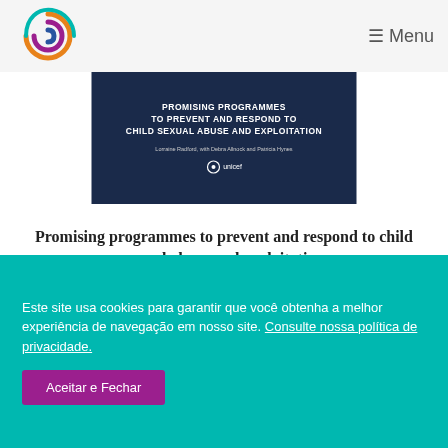Menu
[Figure (illustration): Book cover image on dark navy background showing 'PROMISING PROGRAMMES TO PREVENT AND RESPOND TO CHILD SEXUAL ABUSE AND EXPLOITATION' by Lorraine Radford, with Debra Allnock and Patricia Hynes, UNICEF]
Promising programmes to prevent and respond to child sexual abuse and exploitation
Este site usa cookies para garantir que você obtenha a melhor experiência de navegação em nosso site. Consulte nossa política de privacidade.
Aceitar e Fechar